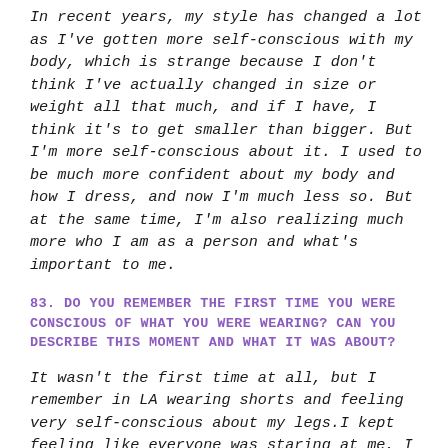In recent years, my style has changed a lot as I've gotten more self-conscious with my body, which is strange because I don't think I've actually changed in size or weight all that much, and if I have, I think it's to get smaller than bigger. But I'm more self-conscious about it. I used to be much more confident about my body and how I dress, and now I'm much less so. But at the same time, I'm also realizing much more who I am as a person and what's important to me.
83. DO YOU REMEMBER THE FIRST TIME YOU WERE CONSCIOUS OF WHAT YOU WERE WEARING? CAN YOU DESCRIBE THIS MOMENT AND WHAT IT WAS ABOUT?
It wasn't the first time at all, but I remember in LA wearing shorts and feeling very self-conscious about my legs.I kept feeling like everyone was staring at me, I felt fat and ugly and disgusting and unworthy, and like people were laughing and pointing at me. I don't know when it went away, but it did. And now I can wear